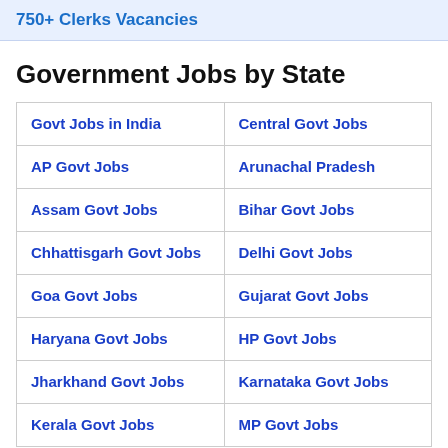750+ Clerks Vacancies
Government Jobs by State
| Govt Jobs in India | Central Govt Jobs |
| AP Govt Jobs | Arunachal Pradesh |
| Assam Govt Jobs | Bihar Govt Jobs |
| Chhattisgarh Govt Jobs | Delhi Govt Jobs |
| Goa Govt Jobs | Gujarat Govt Jobs |
| Haryana Govt Jobs | HP Govt Jobs |
| Jharkhand Govt Jobs | Karnataka Govt Jobs |
| Kerala Govt Jobs | MP Govt Jobs |